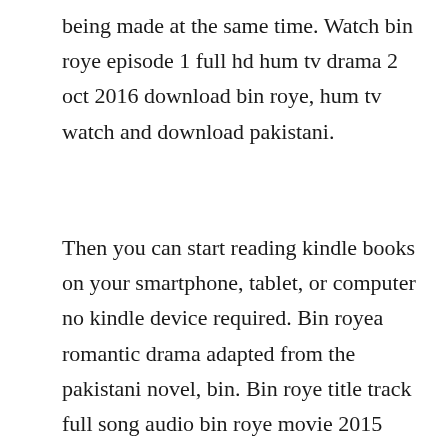being made at the same time. Watch bin roye episode 1 full hd hum tv drama 2 oct 2016 download bin roye, hum tv watch and download pakistani.
Then you can start reading kindle books on your smartphone, tablet, or computer no kindle device required. Bin royea romantic drama adapted from the pakistani novel, bin. Bin roye title track full song audio bin roye movie 2015 shiraz uppal, mahira khan. Aug 28, 2016 the momina duraid directorial debut bin roye film was about forgiveness, love,